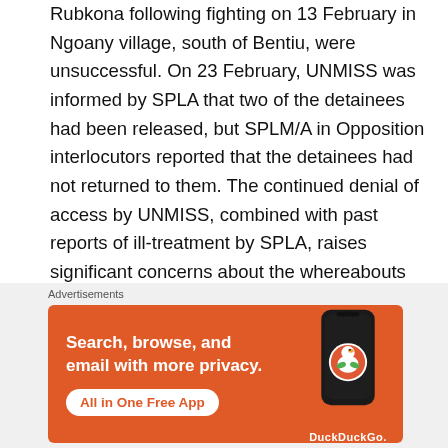Rubkona following fighting on 13 February in Ngoany village, south of Bentiu, were unsuccessful. On 23 February, UNMISS was informed by SPLA that two of the detainees had been released, but SPLM/A in Opposition interlocutors reported that the detainees had not returned to them. The continued denial of access by UNMISS, combined with past reports of ill-treatment by SPLA, raises significant concerns about the whereabouts and welfare of those detainees.
41. Despite assurances from both the Government and the opposition that they would refrain from the recruitment and use of children in armed conflict, numerous reports
[Figure (other): DuckDuckGo advertisement banner: orange background with text 'Search, browse, and email with more privacy. All in One Free App' and DuckDuckGo logo with phone image]